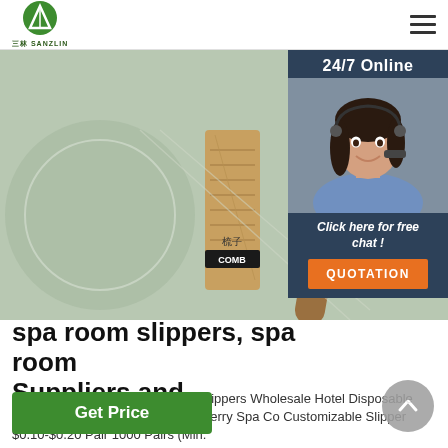SANZUN logo and navigation hamburger menu
[Figure (photo): Hero product image showing a bamboo comb and other grooming accessories on a sage green background with circular geometric shapes. The bamboo comb displays Chinese characters 梳子 and the label COMB.]
[Figure (infographic): 24/7 Online live chat widget overlay with a smiling female customer service agent wearing a headset, dark blue background, orange QUOTATION button, italic text 'Click here for free chat!']
spa room slippers, spa room Suppliers and ...
Slippers Spa Slipper Hotel Terry Slippers Wholesale Hotel Disposable Sponge Slippers OEM Open Toe Terry Spa Co Customizable Slipper $0.10-$0.20 Pair 1000 Pairs (Min.
Get Price